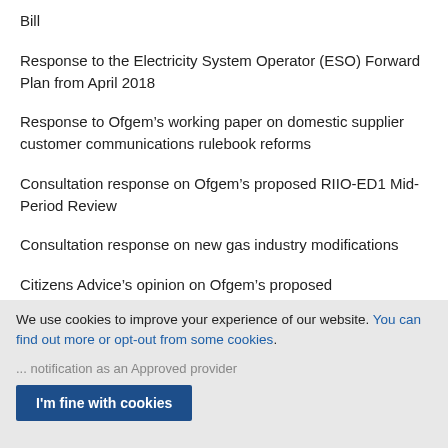Bill
Response to the Electricity System Operator (ESO) Forward Plan from April 2018
Response to Ofgem’s working paper on domestic supplier customer communications rulebook reforms
Consultation response on Ofgem’s proposed RIIO-ED1 Mid-Period Review
Consultation response on new gas industry modifications
Citizens Advice’s opinion on Ofgem’s proposed
We use cookies to improve your experience of our website. You can find out more or opt-out from some cookies.
I'm fine with cookies